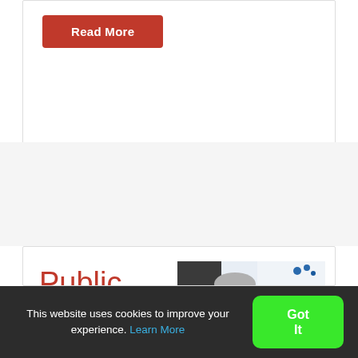Read More
Public consultation launched on
[Figure (photo): A man in a grey suit speaking at a conference or event, with a banner in the background showing text including 'Health', 'ellbe', '26:']
This website uses cookies to improve your experience. Learn More